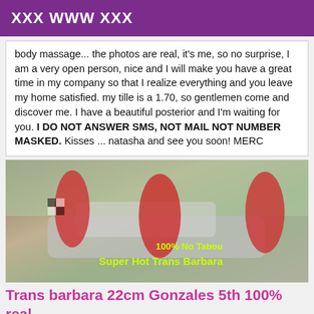XXX WWW XXX
body massage... the photos are real, it's me, so no surprise, I am a very open person, nice and I will make you have a great time in my company so that I realize everything and you leave my home satisfied. my tille is a 1.70, so gentlemen come and discover me. I have a beautiful posterior and I'm waiting for you. I DO NOT ANSWER SMS, NOT MAIL NOT NUMBER MASKED. Kisses ... natasha and see you soon! MERC
[Figure (photo): Photo of two women in red racing outfits posing near a car, with mirrored text overlays reading 'Super Sex 22cm', '100% No Tabou', and 'Super Hot Trans Barbara']
Trans barbara 22cm Gonzales 5th 100% real